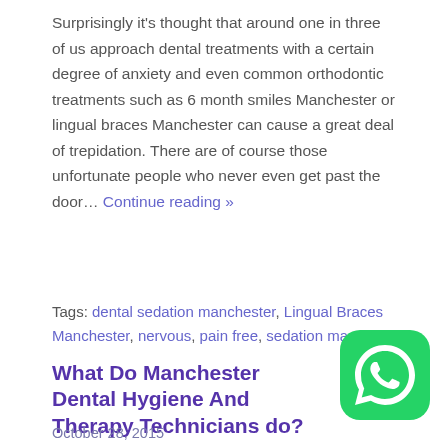Surprisingly it's thought that around one in three of us approach dental treatments with a certain degree of anxiety and even common orthodontic treatments such as 6 month smiles Manchester or lingual braces Manchester can cause a great deal of trepidation. There are of course those unfortunate people who never even get past the door… Continue reading »
Tags: dental sedation manchester, Lingual Braces Manchester, nervous, pain free, sedation manchester
[Figure (logo): WhatsApp green icon with phone handset symbol]
What Do Manchester Dental Hygiene And Therapy Technicians do?
October 28, 2015